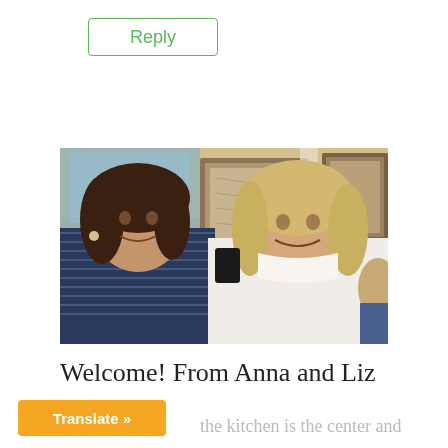Reply
[Figure (photo): Two women smiling indoors, one with dark hair wearing a striped top, one with blonde hair wearing a white blouse. Framed artwork visible in background.]
Welcome! From Anna and Liz
Translate »
the kitchen is the center and